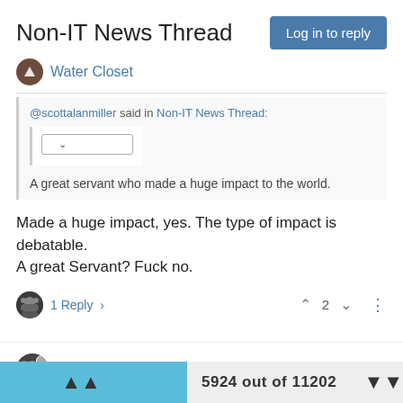Non-IT News Thread
Water Closet
@scottalanmiller said in Non-IT News Thread:
A great servant who made a huge impact to the world.
Made a huge impact, yes. The type of impact is debatable.
A great Servant? Fuck no.
1 Reply  2
PenguinWrangler  Feb 22, 2018, 6:47 PM
@jaredbusoh said in Non-IT News Thread:
5924 out of 11202